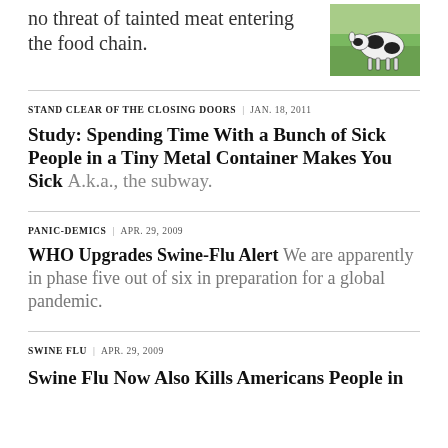no threat of tainted meat entering the food chain.
[Figure (photo): Photo of a cow and calf on green grass]
STAND CLEAR OF THE CLOSING DOORS | JAN. 18, 2011
Study: Spending Time With a Bunch of Sick People in a Tiny Metal Container Makes You Sick A.k.a., the subway.
PANIC-DEMICS | APR. 29, 2009
WHO Upgrades Swine-Flu Alert We are apparently in phase five out of six in preparation for a global pandemic.
SWINE FLU | APR. 29, 2009
Swine Flu Now Also Kills Americans People in